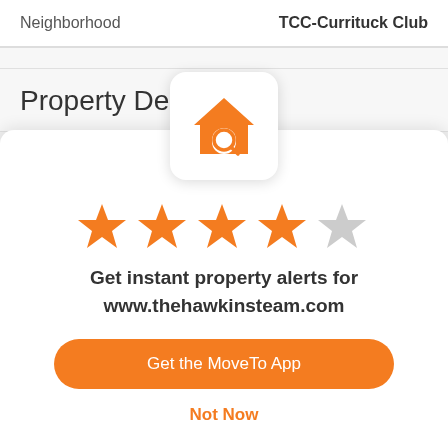| Neighborhood | TCC-Currituck Club |
| --- | --- |
Property Description
[Figure (logo): Orange house with magnifying glass icon inside a white rounded square bubble]
[Figure (infographic): 4 filled orange stars and 1 empty grey star rating]
Get instant property alerts for www.thehawkinsteam.com
Get the MoveTo App
Not Now